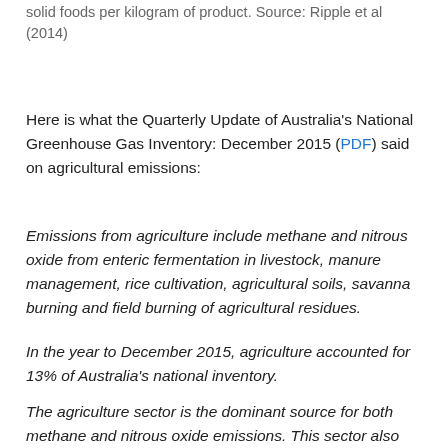solid foods per kilogram of product. Source: Ripple et al (2014)
Here is what the Quarterly Update of Australia's National Greenhouse Gas Inventory: December 2015 (PDF) said on agricultural emissions:
Emissions from agriculture include methane and nitrous oxide from enteric fermentation in livestock, manure management, rice cultivation, agricultural soils, savanna burning and field burning of agricultural residues.
In the year to December 2015, agriculture accounted for 13% of Australia's national inventory.
The agriculture sector is the dominant source for both methane and nitrous oxide emissions. This sector also includes carbon dioxide emissions from the application of